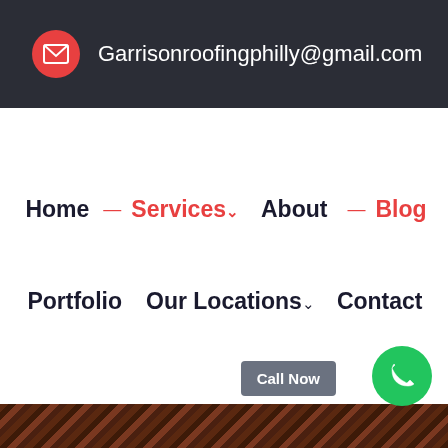Garrisonroofingphilly@gmail.com
Home
Services
About
Blog
Portfolio
Our Locations
Contact
Call Now